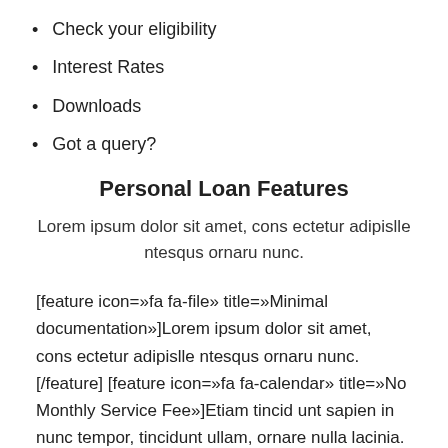Check your eligibility
Interest Rates
Downloads
Got a query?
Personal Loan Features
Lorem ipsum dolor sit amet, cons ectetur adipislle ntesqus ornaru nunc.
[feature icon=»fa fa-file» title=»Minimal documentation»]Lorem ipsum dolor sit amet, cons ectetur adipislle ntesqus ornaru nunc.[/feature] [feature icon=»fa fa-calendar» title=»No Monthly Service Fee»]Etiam tincid unt sapien in nunc tempor, tincidunt ullam, ornare nulla lacinia.[/feature]